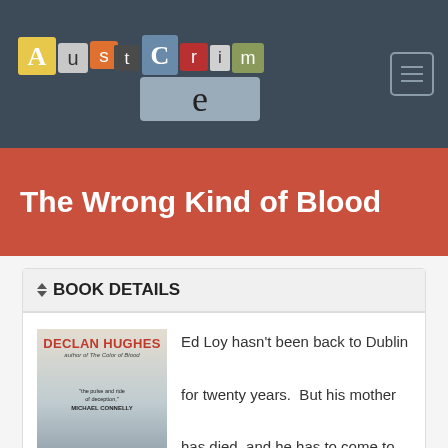[Figure (logo): AustCrime logo with collage-style letters on colored tiles spelling AustCrime]
The Wrong Kind of Blood
BOOK DETAILS
[Figure (illustration): Book cover for The Wrong Kind of Blood by Declan Hughes, with a quote from Michael Connelly]
Ed Loy hasn't been back to Dublin for twenty years.  But his mother has died, and he has to come to